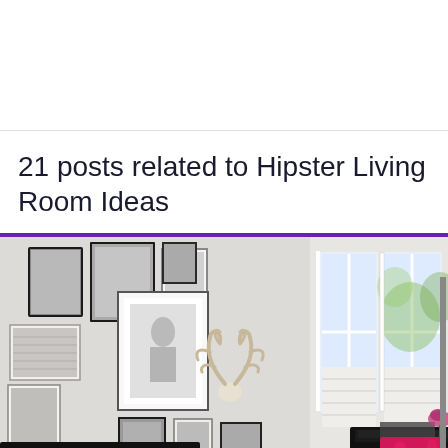21 posts related to Hipster Living Room Ideas
[Figure (photo): A bright, eclectic hipster living room featuring a gallery wall with framed black and white photos and artwork, mounted deer antlers on wall, a dark floor lamp with black shade, bay windows with white shutters, a black piano, dark sofa with white cushions, and a vibrant pink/fuchsia floral armchair.]